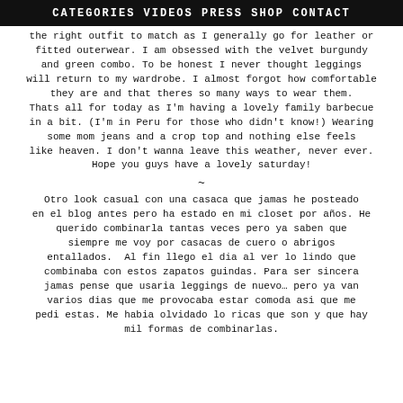CATEGORIES  VIDEOS  PRESS  SHOP  CONTACT
the right outfit to match as I generally go for leather or fitted outerwear. I am obsessed with the velvet burgundy and green combo. To be honest I never thought leggings will return to my wardrobe. I almost forgot how comfortable they are and that theres so many ways to wear them. Thats all for today as I'm having a lovely family barbecue in a bit. (I'm in Peru for those who didn't know!) Wearing some mom jeans and a crop top and nothing else feels like heaven. I don't wanna leave this weather, never ever. Hope you guys have a lovely saturday!
~
Otro look casual con una casaca que jamas he posteado en el blog antes pero ha estado en mi closet por años. He querido combinarla tantas veces pero ya saben que siempre me voy por casacas de cuero o abrigos entallados.  Al fin llego el dia al ver lo lindo que combinaba con estos zapatos guindas. Para ser sincera jamas pense que usaria leggings de nuevo… pero ya van varios dias que me provocaba estar comoda asi que me pedi estas. Me habia olvidado lo ricas que son y que hay mil formas de combinarlas.